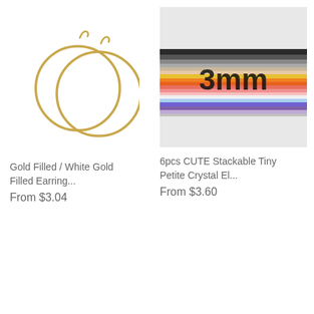[Figure (illustration): Two overlapping gold hoop earrings on white background]
Gold Filled / White Gold Filled Earring...
From $3.04
[Figure (photo): Stack of colorful thin crystal bracelets with '3mm' text overlay]
6pcs CUTE Stackable Tiny Petite Crystal El...
From $3.60